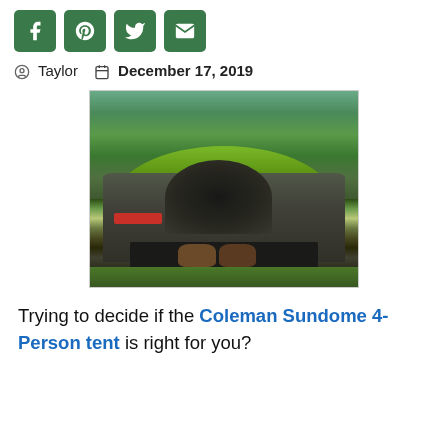[Figure (other): Social media sharing icons: Facebook, Pinterest, Twitter, Email — green rounded square buttons]
Taylor   December 17, 2019
[Figure (photo): Green Coleman dome tent set up outdoors on grass with trees in background, open door showing sleeping gear inside, hiking boots placed in front on a dark ground mat]
Trying to decide if the Coleman Sundome 4-Person tent is right for you?